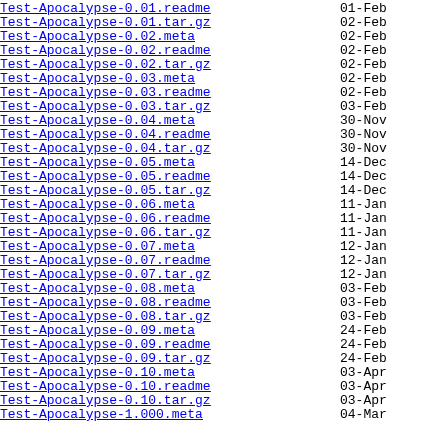Test-Apocalypse-0.01.readme  01-Feb
Test-Apocalypse-0.01.tar.gz  02-Feb
Test-Apocalypse-0.02.meta    02-Feb
Test-Apocalypse-0.02.readme  02-Feb
Test-Apocalypse-0.02.tar.gz  02-Feb
Test-Apocalypse-0.03.meta    02-Feb
Test-Apocalypse-0.03.readme  02-Feb
Test-Apocalypse-0.03.tar.gz  03-Feb
Test-Apocalypse-0.04.meta    30-Nov
Test-Apocalypse-0.04.readme  30-Nov
Test-Apocalypse-0.04.tar.gz  30-Nov
Test-Apocalypse-0.05.meta    14-Dec
Test-Apocalypse-0.05.readme  14-Dec
Test-Apocalypse-0.05.tar.gz  14-Dec
Test-Apocalypse-0.06.meta    11-Jan
Test-Apocalypse-0.06.readme  11-Jan
Test-Apocalypse-0.06.tar.gz  11-Jan
Test-Apocalypse-0.07.meta    12-Jan
Test-Apocalypse-0.07.readme  12-Jan
Test-Apocalypse-0.07.tar.gz  12-Jan
Test-Apocalypse-0.08.meta    03-Feb
Test-Apocalypse-0.08.readme  03-Feb
Test-Apocalypse-0.08.tar.gz  03-Feb
Test-Apocalypse-0.09.meta    24-Feb
Test-Apocalypse-0.09.readme  24-Feb
Test-Apocalypse-0.09.tar.gz  24-Feb
Test-Apocalypse-0.10.meta    03-Apr
Test-Apocalypse-0.10.readme  03-Apr
Test-Apocalypse-0.10.tar.gz  03-Apr
Test-Apocalypse-1.000.meta   04-Mar